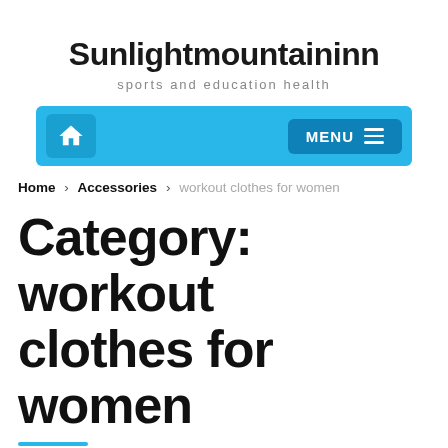Sunlightmountaininn
sports and education health
[Figure (screenshot): Navigation bar with home icon on left and MENU button on right, cyan/blue background]
Home > Accessories > workout clothes for women
Category: workout clothes for women
WORKOUT CLOTHES FOR WOMEN  •  April 13, 2022
Gym Membership Costs